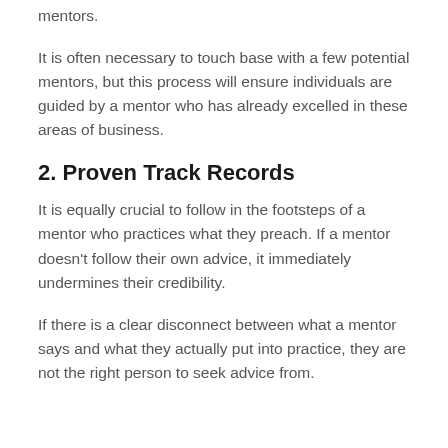mentors.
It is often necessary to touch base with a few potential mentors, but this process will ensure individuals are guided by a mentor who has already excelled in these areas of business.
2. Proven Track Records
It is equally crucial to follow in the footsteps of a mentor who practices what they preach. If a mentor doesn't follow their own advice, it immediately undermines their credibility.
If there is a clear disconnect between what a mentor says and what they actually put into practice, they are not the right person to seek advice from.